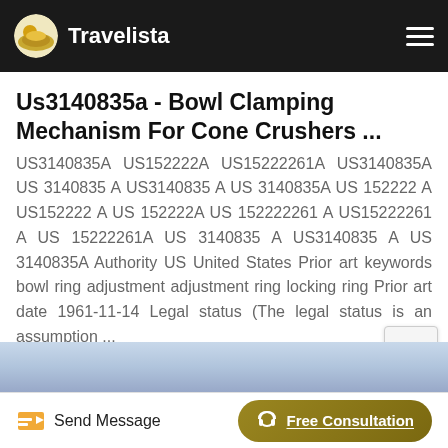Travelista
Us3140835a - Bowl Clamping Mechanism For Cone Crushers ...
US3140835A US152222A US15222261A US3140835A US 3140835 A US3140835 A US 3140835A US 152222 A US152222 A US 152222A US 152222261 A US15222261 A US 15222261A US 3140835 A US3140835 A US 3140835A Authority US United States Prior art keywords bowl ring adjustment adjustment ring locking ring Prior art date 1961-11-14 Legal status (The legal status is an assumption ...
[Figure (photo): Blue sky/clouds image strip at bottom of content area]
Send Message | Free Consultation